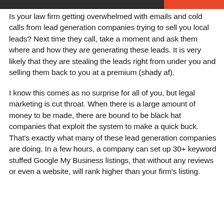Is your law firm getting overwhelmed with emails and cold calls from lead generation companies trying to sell you local leads? Next time they call, take a moment and ask them where and how they are generating these leads. It is very likely that they are stealing the leads right from under you and selling them back to you at a premium (shady af).
I know this comes as no surprise for all of you, but legal marketing is cut throat. When there is a large amount of money to be made, there are bound to be black hat companies that exploit the system to make a quick buck. That's exactly what many of these lead generation companies are doing. In a few hours, a company can set up 30+ keyword stuffed Google My Business listings, that without any reviews or even a website, will rank higher than your firm's listing.